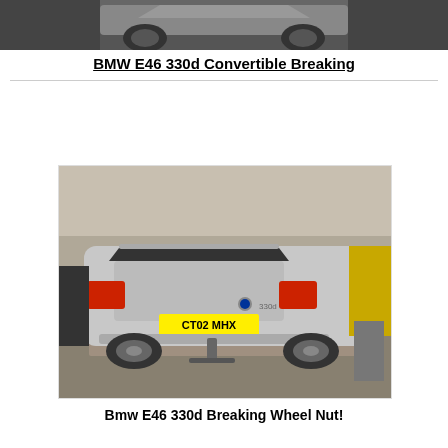[Figure (photo): Partial rear view of a car, dark rear section visible, cropped at top of page]
BMW E46 330d Convertible Breaking
[Figure (photo): Silver BMW E46 330d estate/touring car with license plate CT02 MHX, parked in a garage on a ramp, rear view showing taillights and towbar]
Bmw E46 330d Breaking Wheel Nut!